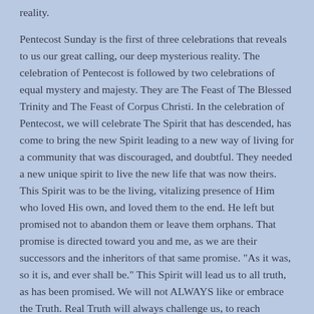reality.
Pentecost Sunday is the first of three celebrations that reveals to us our great calling, our deep mysterious reality. The celebration of Pentecost is followed by two celebrations of equal mystery and majesty. They are The Feast of The Blessed Trinity and The Feast of Corpus Christi. In the celebration of Pentecost, we will celebrate The Spirit that has descended, has come to bring the new Spirit leading to a new way of living for a community that was discouraged, and doubtful. They needed a new unique spirit to live the new life that was now theirs. This Spirit was to be the living, vitalizing presence of Him who loved His own, and loved them to the end. He left but promised not to abandon them or leave them orphans. That promise is directed toward you and me, as we are their successors and the inheritors of that same promise. "As it was, so it is, and ever shall be." This Spirit will lead us to all truth, as has been promised. We will not ALWAYS like or embrace the Truth. Real Truth will always challenge us, to reach beyond what is easy, and comfortable. I personally do not like this. Then I am told, I do not have to LIKE it. However, I will be led in time to the wonderful promised land of acceptance.